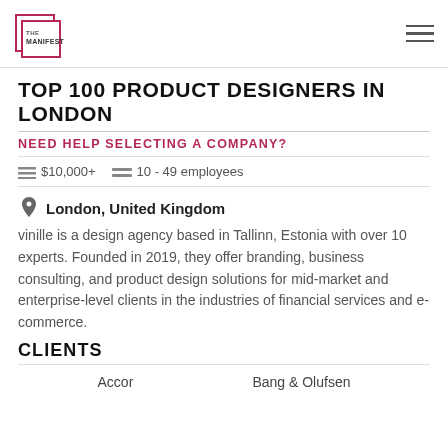THE MANIFEST
TOP 100 PRODUCT DESIGNERS IN LONDON
NEED HELP SELECTING A COMPANY?
$10,000+   10 - 49 employees
London, United Kingdom
vinille is a design agency based in Tallinn, Estonia with over 10 experts. Founded in 2019, they offer branding, business consulting, and product design solutions for mid-market and enterprise-level clients in the industries of financial services and e-commerce.
CLIENTS
Accor   Bang & Olufsen